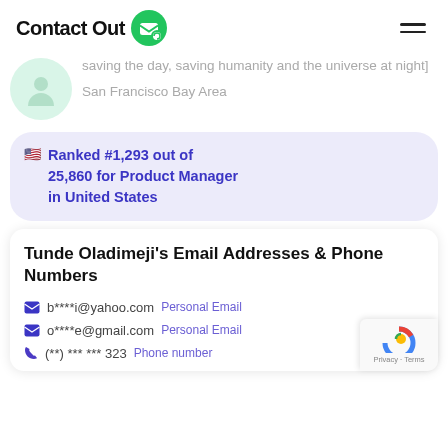ContactOut
[saving the day, saving humanity and the universe at night]
San Francisco Bay Area
Ranked #1,293 out of 25,860 for Product Manager in United States
Tunde Oladimeji's Email Addresses & Phone Numbers
b****i@yahoo.com  Personal Email
o****e@gmail.com  Personal Email
(**) *** *** 323  Phone number